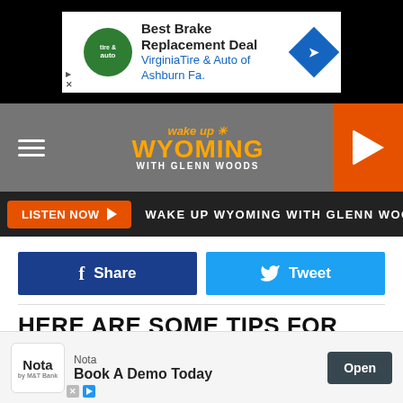[Figure (screenshot): Top advertisement banner: Best Brake Replacement Deal - Virginia Tire & Auto of Ashburn Fa.]
WAKE UP WYOMING WITH GLENN WOODS - radio station header with logo and hamburger menu
LISTEN NOW ▶  WAKE UP WYOMING WITH GLENN WOODS
f Share   🐦 Tweet
HERE ARE SOME TIPS FOR SELF-CARE DURING THE PANDEMIC:
[Figure (photo): Blue-purple gradient background photo, partially visible]
[Figure (screenshot): Bottom advertisement: Nota - Book A Demo Today - Open button]